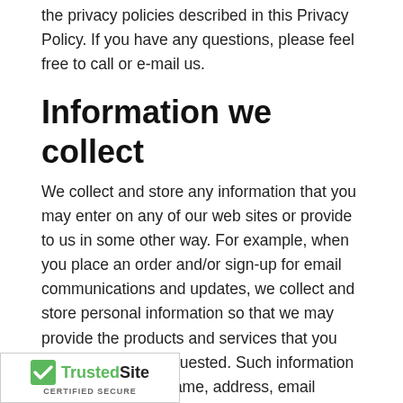the privacy policies described in this Privacy Policy. If you have any questions, please feel free to call or e-mail us.
Information we collect
We collect and store any information that you may enter on any of our web sites or provide to us in some other way. For example, when you place an order and/or sign-up for email communications and updates, we collect and store personal information so that we may provide the products and services that you have ordered or requested. Such information may include your name, address, email address, telephone and fax numbers, credit card information. You can choose not to provide certain types of information, but that may result in you being unable to use certain features of our web site(s). We may also collect and store information about other that you provide to us. For example, you may person's name and address if you wish us to
[Figure (logo): TrustedSite Certified Secure badge with green checkmark]